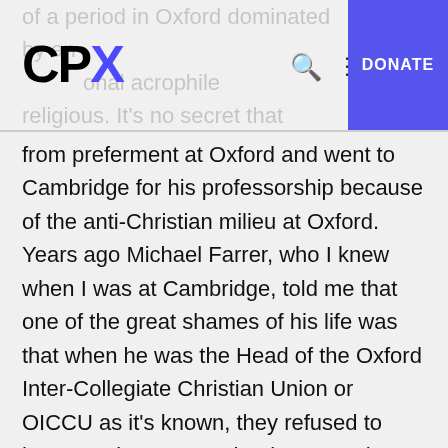CPX [logo with blue X] | Search | Menu | DONATE
from preferment at Oxford and went to Cambridge for his professorship because of the anti-Christian milieu at Oxford. Years ago Michael Farrer, who I knew when I was at Cambridge, told me that one of the great shames of his life was that when he was the Head of the Oxford Inter-Collegiate Christian Union or OICCU as it’s known, they refused to have Lewis as a speaker because they didn’t consider him sufficiently orthodox.
Now Chesterton on the other hand, Chesterton